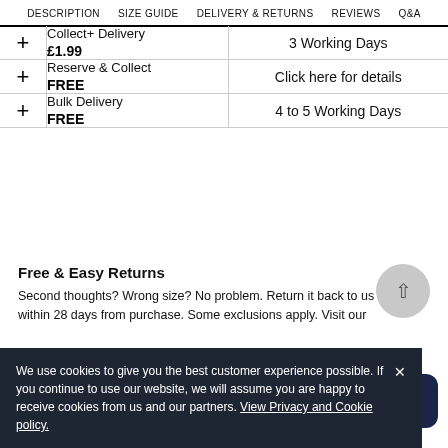DESCRIPTION  SIZE GUIDE  DELIVERY & RETURNS  REVIEWS  Q&A
|  | Service | Delivery Time |
| --- | --- | --- |
| + | Collect+ Delivery
£1.99 | 3 Working Days |
| + | Reserve & Collect
FREE | Click here for details |
| + | Bulk Delivery
FREE | 4 to 5 Working Days |
Free & Easy Returns
Second thoughts? Wrong size? No problem. Return it back to us for free within 28 days from purchase. Some exclusions apply. Visit our
We use cookies to give you the best customer experience possible. If you continue to use our website, we will assume you are happy to receive cookies from us and our partners. View Privacy and Cookie policy.